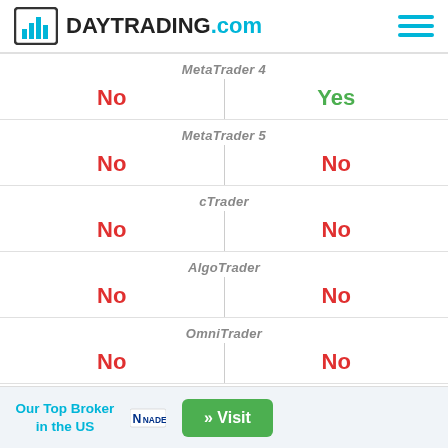DAYTRADING.com
|  | MetaTrader 4 |  |
| --- | --- | --- |
| No | MetaTrader 4 | Yes |
| No | MetaTrader 5 | No |
| No | cTrader | No |
| No | AlgoTrader | No |
| No | OmniTrader | No |
| No | TradingView | No |
Our Top Broker in the US  NADEX  » Visit